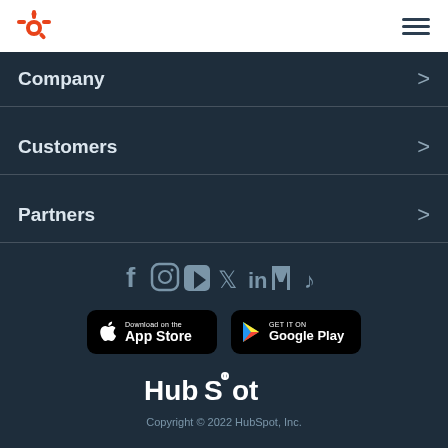[Figure (logo): HubSpot sprocket logo in orange, top left of white header bar]
[Figure (illustration): Hamburger menu icon (three horizontal lines) in dark color, top right of white header bar]
Company
Customers
Partners
[Figure (illustration): Social media icons row: Facebook, Instagram, YouTube, Twitter, LinkedIn, Medalia(?), TikTok]
[Figure (illustration): App Store and Google Play download buttons]
[Figure (logo): HubSpot wordmark logo in white]
Copyright © 2022 HubSpot, Inc.